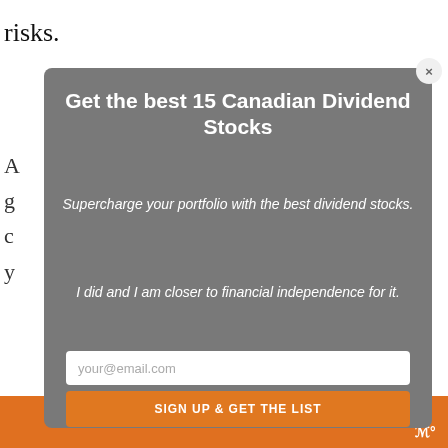risks.
[Figure (screenshot): Modal popup overlay on a financial website with dark gray background. Contains a heading 'Get the best 15 Canadian Dividend Stocks', italic subtitle 'Supercharge your portfolio with the best dividend stocks.', italic quote 'I did and I am closer to financial independence for it.', an email input field with placeholder 'your@email.com', and an orange button labeled 'SIGN UP & GET THE LIST'. A close button (x) appears in the top-right corner of the modal.]